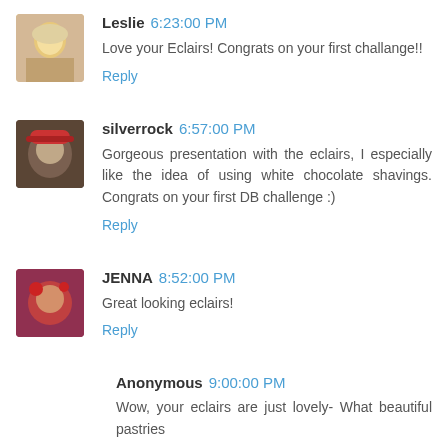[Figure (photo): Avatar of Leslie - blonde woman]
Leslie 6:23:00 PM
Love your Eclairs! Congrats on your first challange!!
Reply
[Figure (photo): Avatar of silverrock - person with red hat]
silverrock 6:57:00 PM
Gorgeous presentation with the eclairs, I especially like the idea of using white chocolate shavings. Congrats on your first DB challenge :)
Reply
[Figure (photo): Avatar of JENNA - person with red accessories]
JENNA 8:52:00 PM
Great looking eclairs!
Reply
Anonymous 9:00:00 PM
Wow, your eclairs are just lovely- What beautiful pastries